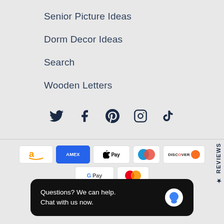Senior Picture Ideas
Dorm Decor Ideas
Search
Wooden Letters
[Figure (infographic): Social media icons: Twitter, Facebook, Pinterest, Instagram, TikTok]
[Figure (infographic): Payment method icons: Amazon, Amex, Apple Pay, Diners Club, Discover, Google Pay, Mastercard]
REVIEWS (sidebar, rotated)
Questions? We can help.
Chat with us now.
© 2... Shopify